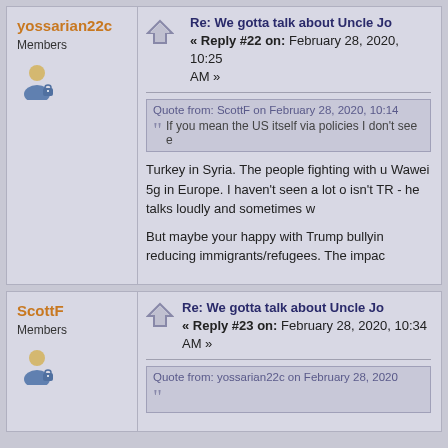yossarian22c
Members
Re: We gotta talk about Uncle Joe
« Reply #22 on: February 28, 2020, 10:25 AM »
Quote from: ScottF on February 28, 2020, 10:14
If you mean the US itself via policies I don't see e
Turkey in Syria. The people fighting with u Wawei 5g in Europe. I haven't seen a lot o isn't TR - he talks loudly and sometimes w
But maybe your happy with Trump bullyin reducing immigrants/refugees. The impac
ScottF
Members
Re: We gotta talk about Uncle Joe
« Reply #23 on: February 28, 2020, 10:34 AM »
Quote from: yossarian22c on February 28, 2020